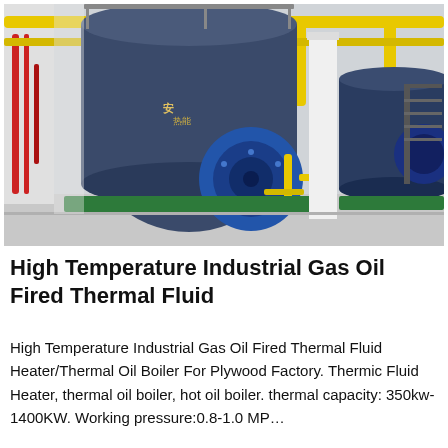[Figure (photo): Industrial boiler room showing large dark blue cylindrical thermal fluid heaters/hot oil boilers mounted on green bases, with yellow overhead piping, red piping on the left wall, white structural columns, and metal staircases. A second smaller boiler is visible in the background right.]
High Temperature Industrial Gas Oil Fired Thermal Fluid
High Temperature Industrial Gas Oil Fired Thermal Fluid Heater/Thermal Oil Boiler For Plywood Factory. Thermic Fluid Heater, thermal oil boiler, hot oil boiler. thermal capacity: 350kw-1400KW. Working pressure:0.8-1.0 MP…